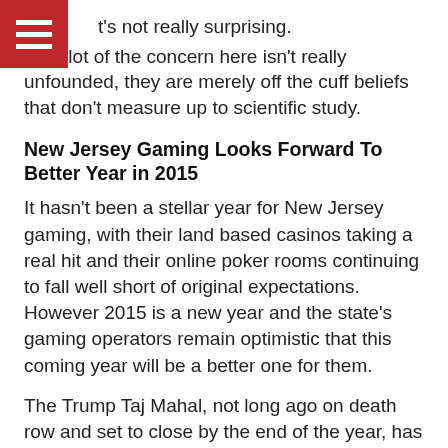t's not really surprising.
So a lot of the concern here isn't really unfounded, they are merely off the cuff beliefs that don't measure up to scientific study.
New Jersey Gaming Looks Forward To Better Year in 2015
It hasn't been a stellar year for New Jersey gaming, with their land based casinos taking a real hit and their online poker rooms continuing to fall well short of original expectations. However 2015 is a new year and the state's gaming operators remain optimistic that this coming year will be a better one for them.
The Trump Taj Mahal, not long ago on death row and set to close by the end of the year, has been spared for now at least. Even the Revel, which was closed a couple of months ago, may end up reopening again if the deal to sell it goes through.
There is also talk of opening a casino in the northern part of the state, close to New York City, which would certainly be a shot in the arm for New Jersey's casino business if they can